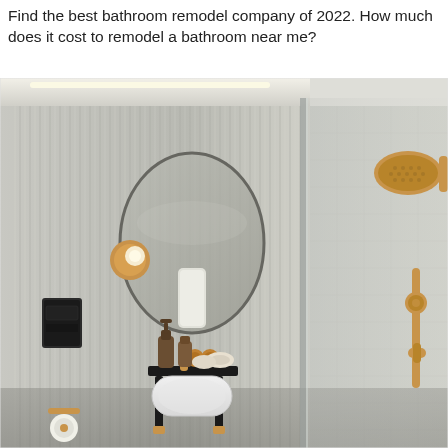Find the best bathroom remodel company of 2022. How much does it cost to remodel a bathroom near me?
[Figure (photo): Modern bathroom interior with fluted grey wall panels, a round oval mirror with warm lighting, a circular wall sconce, a pedestal sink with black stand, soap dispensers, rolled towels on a shelf, a white towel hanging in the mirror, gold/brass faucet fixtures, a glass shower partition on the right with a round rain shower head and handheld shower in gold/brass finish, and a toilet paper holder at lower left.]